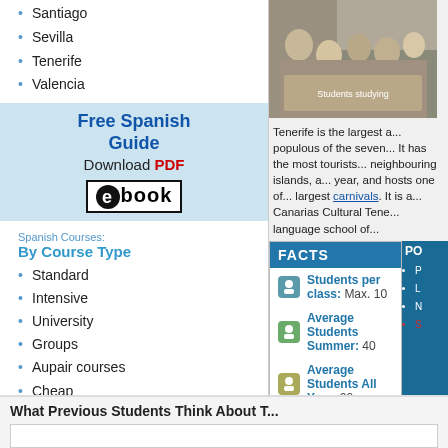Santiago
Sevilla
Tenerife
Valencia
Free Spanish Guide
Download PDF
[Figure (logo): ebook logo with stylized e in circle and 'book' text]
Spanish Courses:
By Course Type
Standard
Intensive
University
Groups
Aupair courses
Cheap Courses
Summer
Teenage
Mature
Business
DELE
VIP Package
[Figure (photo): Students gathered around a table studying together]
Tenerife is the largest and most populous of the seven... It has the most tourists of any neighbouring islands, a...year, and hosts one of the largest carnivals. It is a...Canarias Cultural Tene...language school of...
FACTS
Students per class: Max. 10
Average Students Summer: 40
Average Students All Year: 20
Year Founded: 2001
PO
MORE SCHOOL
What Previous Students Think About T